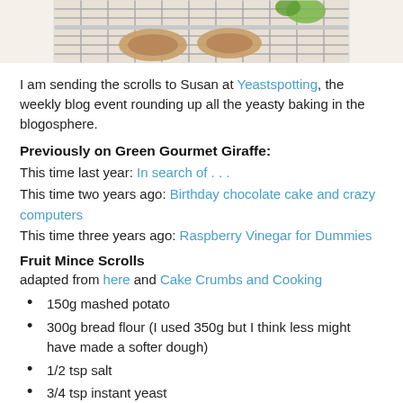[Figure (photo): Partial top image of baked scrolls on a wire cooling rack with green decoration, cropped at top of page]
I am sending the scrolls to Susan at Yeastspotting, the weekly blog event rounding up all the yeasty baking in the blogosphere.
Previously on Green Gourmet Giraffe:
This time last year: In search of . . .
This time two years ago: Birthday chocolate cake and crazy computers
This time three years ago: Raspberry Vinegar for Dummies
Fruit Mince Scrolls
adapted from here and Cake Crumbs and Cooking
150g mashed potato
300g bread flour (I used 350g but I think less might have made a softer dough)
1/2 tsp salt
3/4 tsp instant yeast